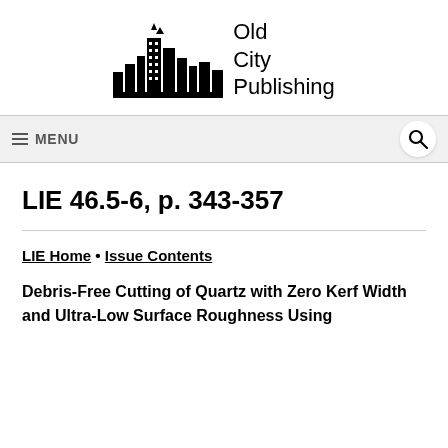[Figure (logo): Old City Publishing logo with city skyline silhouette and text 'Old City Publishing']
MENU  [search icon]
LIE 46.5-6, p. 343-357
LIE Home • Issue Contents
Debris-Free Cutting of Quartz with Zero Kerf Width and Ultra-Low Surface Roughness Using Femtosecond Pulsed Laser Filamentation